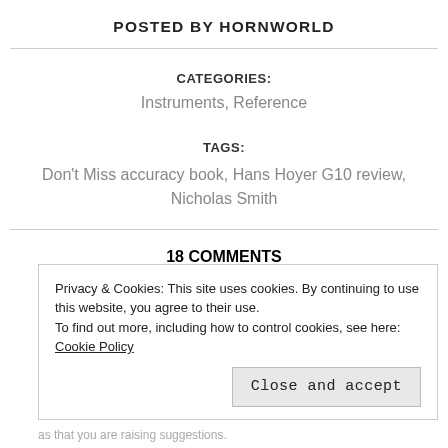POSTED BY HORNWORLD
CATEGORIES:
Instruments, Reference
TAGS:
Don't Miss accuracy book, Hans Hoyer G10 review, Nicholas Smith
18 COMMENTS
Privacy & Cookies: This site uses cookies. By continuing to use this website, you agree to their use.
To find out more, including how to control cookies, see here: Cookie Policy
Close and accept